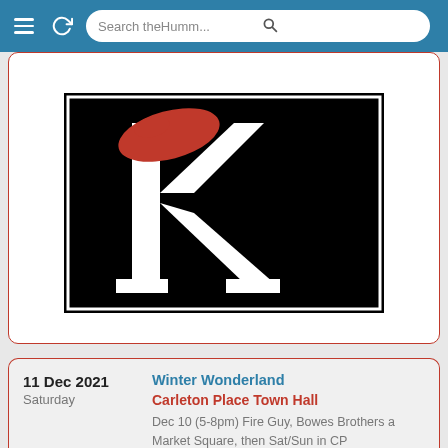[Figure (screenshot): Browser navigation bar with hamburger menu icon, refresh icon, and search field reading 'Search theHumm...' with a search/magnifying glass icon, on a teal/blue background.]
[Figure (logo): A stylized logo on black background showing a white letter K with a red beret/hat shape at the top, with white legs — a dancing or marching figure forming the K shape. The Humm publication logo.]
11 Dec 2021
Saturday
Winter Wonderland
Carleton Place Town Hall
Dec 10 (5-8pm) Fire Guy, Bowes Brothers a Market Square, then Sat/Sun in CP Arena: Dec 11 (1-8pm) winter activities, food, artisans, 2pm SplashN Boots, 3:15pm Cait St Clair, 4:30pm Lanark County Reviva 6:30pm JaxStraw; Dec 12 (9:30am-3pm) 10am SplashN Boots, 12:20pm Junkyard Symphony; 1:30pm Chris Mellor